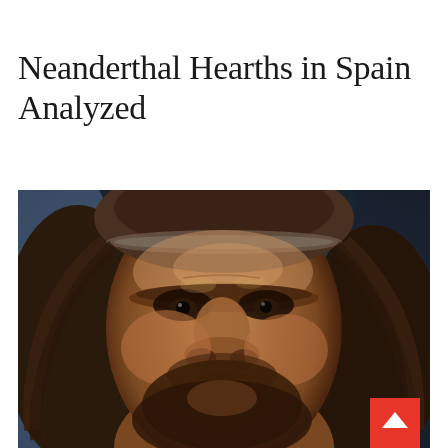Neanderthal Hearths in Spain Analyzed
[Figure (photo): Close-up photograph or realistic reconstruction of a Neanderthal face — a lifelike museum model showing heavy brow ridges, broad nose, deep-set dark eyes, and long brown hair with a headband, against a dark blue background.]